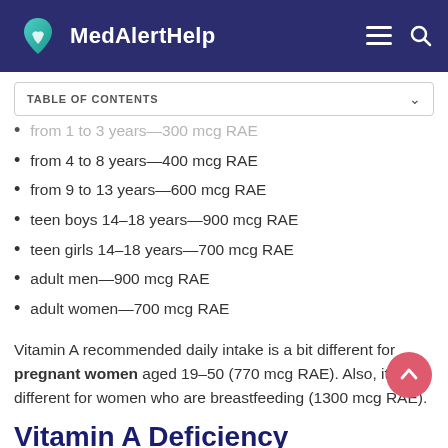MedAlertHelp
TABLE OF CONTENTS
from 1 to 3 years—300 mcg RAE
from 4 to 8 years—400 mcg RAE
from 9 to 13 years—600 mcg RAE
teen boys 14–18 years—900 mcg RAE
teen girls 14–18 years—700 mcg RAE
adult men—900 mcg RAE
adult women—700 mcg RAE
Vitamin A recommended daily intake is a bit different for pregnant women aged 19–50 (770 mcg RAE). Also, it's different for women who are breastfeeding (1300 mcg RAE).
Vitamin A Deficiency Symptoms